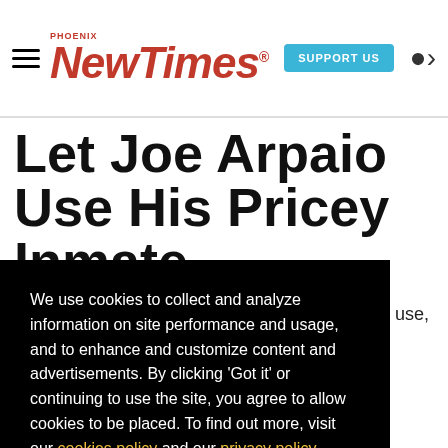Phoenix New Times | SUPPORT US
Let Joe Arpaio Use His Pricey Inmate Transport
We use cookies to collect and analyze information on site performance and usage, and to enhance and customize content and advertisements. By clicking 'Got it' or continuing to use the site, you agree to allow cookies to be placed. To find out more, visit our cookies policy and our privacy policy.
Got it!
ensive use, his